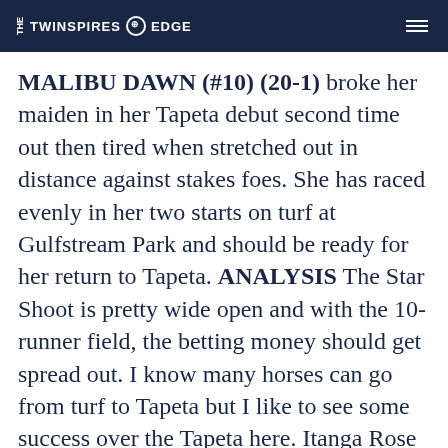THE TWINSPIRES EDGE
MALIBU DAWN (#10) (20-1) broke her maiden in her Tapeta debut second time out then tired when stretched out in distance against stakes foes. She has raced evenly in her two starts on turf at Gulfstream Park and should be ready for her return to Tapeta. ANALYSIS The Star Shoot is pretty wide open and with the 10-runner field, the betting money should get spread out. I know many horses can go from turf to Tapeta but I like to see some success over the Tapeta here. Itanga Rose won both starts here last year and has trained extremely well at